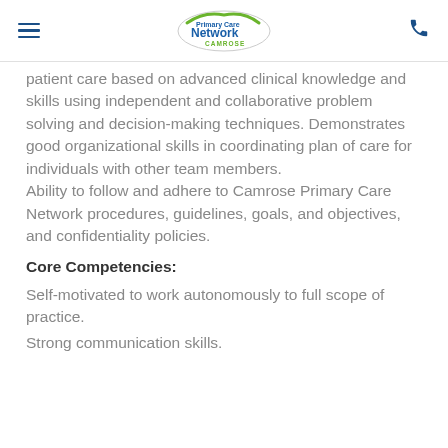Primary Care Network Camrose
patient care based on advanced clinical knowledge and skills using independent and collaborative problem solving and decision-making techniques. Demonstrates good organizational skills in coordinating plan of care for individuals with other team members. Ability to follow and adhere to Camrose Primary Care Network procedures, guidelines, goals, and objectives, and confidentiality policies.
Core Competencies:
Self-motivated to work autonomously to full scope of practice.
Strong communication skills.